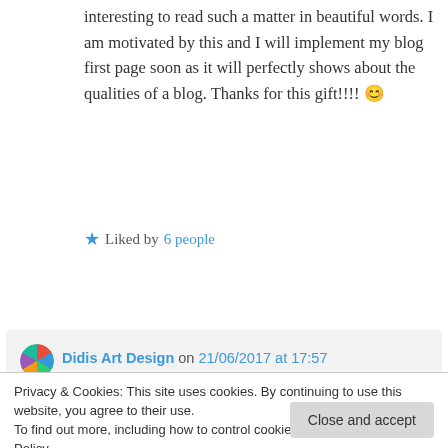interesting to read such a matter in beautiful words. I am motivated by this and I will implement my blog first page soon as it will perfectly shows about the qualities of a blog. Thanks for this gift!!!! 😊
★ Liked by 6 people
Log in to Reply
Didis Art Design on 21/06/2017 at 17:57
Privacy & Cookies: This site uses cookies. By continuing to use this website, you agree to their use.
To find out more, including how to control cookies, see here: Cookie Policy